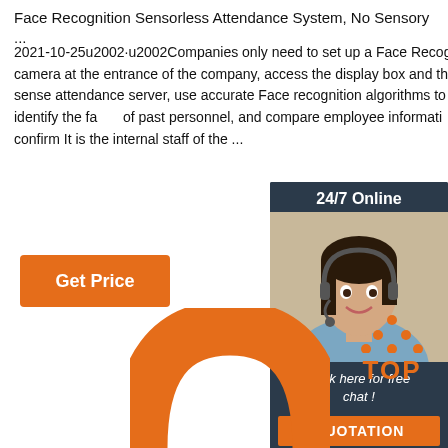Face Recognition Sensorless Attendance System, No Sensory ...
2021-10-25u2002·u2002Companies only need to set up a Face Recognition camera at the entrance of the company, access the display box and the non-sense attendance server, use accurate Face recognition algorithms to actively identify the faces of past personnel, and compare employee information end to confirm It is the internal staff of the ...
[Figure (other): Orange Get Price button]
[Figure (other): 24/7 Online chat widget with a customer service representative photo, 'Click here for free chat!' text, and a QUOTATION button]
[Figure (logo): TOP badge with orange dots arranged in a triangle above the word TOP in orange letters]
[Figure (photo): Orange curved wristband or bracelet shape at the bottom of the page]